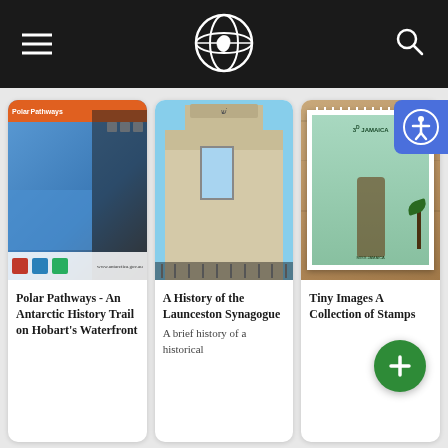Navigation header with hamburger menu, globe logo, and search icon
[Figure (screenshot): Polar Pathways Antarctic history trail brochure image with statue and informational panels]
Polar Pathways - An Antarctic History Trail on Hobart's Waterfront
[Figure (photo): Photo of the Launceston Synagogue building facade in pale stone]
A History of the Launceston Synagogue
A brief history of a historical
[Figure (photo): 3 pence Jamaica postage stamp showing a woman figure]
Tiny Images A Collection of Stamps